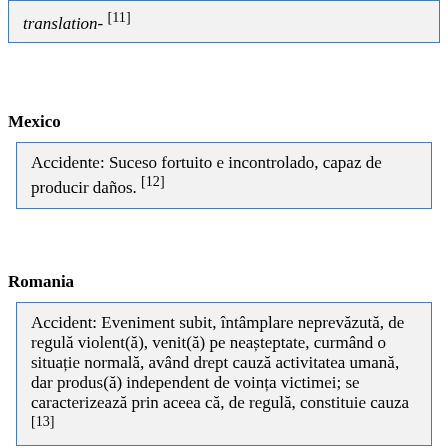translation- [11]
Mexico
Accidente: Suceso fortuito e incontrolado, capaz de producir daños. [12]
Romania
Accident: Eveniment subit, întâmplare neprevăzută, de regulă violent(ă), venit(ă) pe neașteptate, curmând o situație normală, având drept cauză activitatea umană, dar produs(ă) independent de voința victimei; se caracterizează prin aceea că, de regulă, constituie cauza [13]